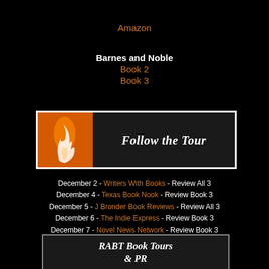Amazon
Barnes and Noble
Book 2
Book 3
[Figure (illustration): Follow the Tour banner with orange left panel featuring flame/woman illustration and dark right panel with white italic text 'Follow the Tour']
December 2 - Writers With Books - Review All 3
December 4 - Texas Book Nook - Review Book 3
December 5 - J Bronder Book Reviews - Review All 3
December 6 - The Indie Express - Review Book 3
December 7 - Novel News Network - Review Book 3
December 8 - RABT Reviews - Wrap Up
[Figure (logo): RABT Book Tours & PR logo banner with dark chalkboard background and white italic text]